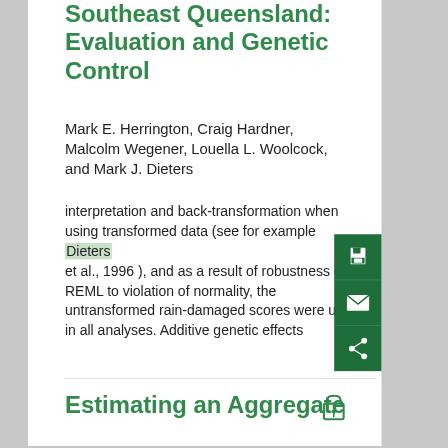Southeast Queensland: Evaluation and Genetic Control
Mark E. Herrington, Craig Hardner, Malcolm Wegener, Louella L. Woolcock, and Mark J. Dieters
interpretation and back-transformation when using transformed data (see for example Dieters et al., 1996 ), and as a result of robustness of REML to violation of normality, the untransformed rain-damaged scores were used in all analyses. Additive genetic effects
Estimating an Aggregate